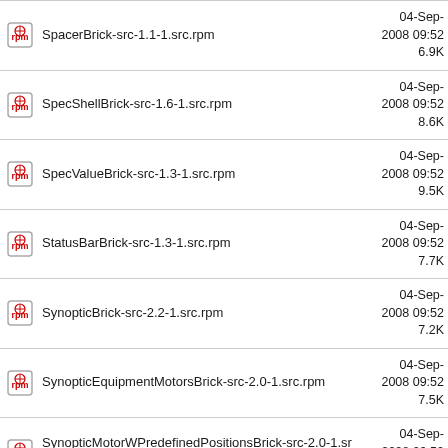SpacerBrick-src-1.1-1.src.rpm  04-Sep-2008 09:52  6.9K
SpecShellBrick-src-1.6-1.src.rpm  04-Sep-2008 09:52  8.6K
SpecValueBrick-src-1.3-1.src.rpm  04-Sep-2008 09:52  9.5K
StatusBarBrick-src-1.3-1.src.rpm  04-Sep-2008 09:52  7.7K
SynopticBrick-src-2.2-1.src.rpm  04-Sep-2008 09:52  7.2K
SynopticEquipmentMotorsBrick-src-2.0-1.src.rpm  04-Sep-2008 09:52  7.5K
SynopticMotorWPredefinedPositionsBrick-src-2.0-1.src.rpm  04-Sep-2008 09:52  7.8K
TwoAxisAlignmentBrick-src-2.0-1.src.rpm  04-Sep-2008 09:52  9.1K